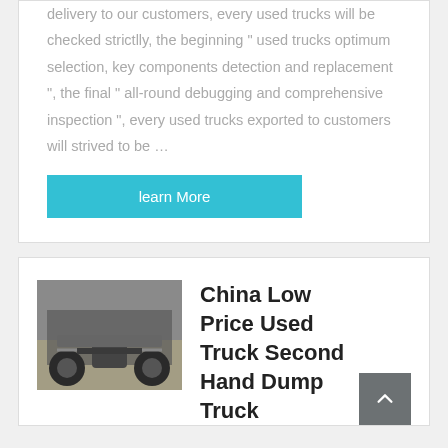delivery to our customers, every used trucks will be checked strictlly, the beginning " used trucks optimum selection, key components detection and replacement ", the final " all-round debugging and comprehensive inspection ", every used trucks exported to customers will strived to be …
learn More
[Figure (photo): Undercarriage view of a truck showing axle and suspension components]
China Low Price Used Truck Second Hand Dump Truck